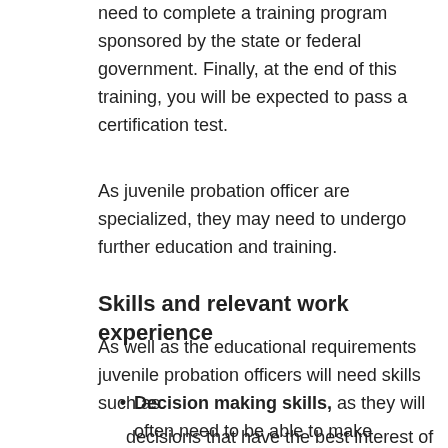need to complete a training program sponsored by the state or federal government. Finally, at the end of this training, you will be expected to pass a certification test.
As juvenile probation officer are specialized, they may need to undergo further education and training.
Skills and relevant work experience
As well as the educational requirements juvenile probation officers will need skills such as:
Decision making skills, as they will often need to be able to make effective, on the spot, decisions that have the best interest of the young offender in mind
Social perceptiveness and open-mindedness as juvenile probation officers will have to work